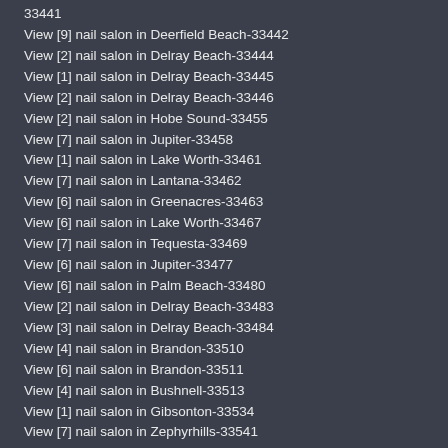33441
View [9] nail salon in Deerfield Beach-33442
View [2] nail salon in Delray Beach-33444
View [1] nail salon in Delray Beach-33445
View [2] nail salon in Delray Beach-33446
View [2] nail salon in Hobe Sound-33455
View [7] nail salon in Jupiter-33458
View [1] nail salon in Lake Worth-33461
View [7] nail salon in Lantana-33462
View [6] nail salon in Greenacres-33463
View [6] nail salon in Lake Worth-33467
View [7] nail salon in Tequesta-33469
View [6] nail salon in Jupiter-33477
View [6] nail salon in Palm Beach-33480
View [2] nail salon in Delray Beach-33483
View [3] nail salon in Delray Beach-33484
View [4] nail salon in Brandon-33510
View [6] nail salon in Brandon-33511
View [4] nail salon in Bushnell-33513
View [1] nail salon in Gibsonton-33534
View [7] nail salon in Zephyrhills-33541